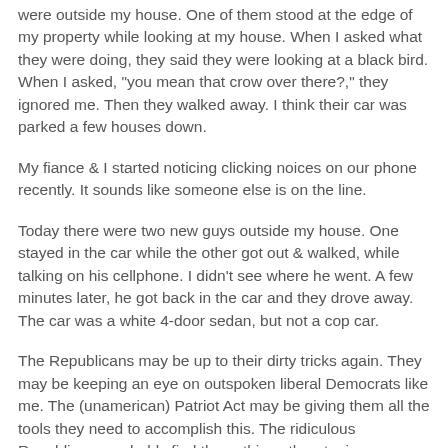were outside my house. One of them stood at the edge of my property while looking at my house. When I asked what they were doing, they said they were looking at a black bird. When I asked, "you mean that crow over there?," they ignored me. Then they walked away. I think their car was parked a few houses down.
My fiance & I started noticing clicking noices on our phone recently. It sounds like someone else is on the line.
Today there were two new guys outside my house. One stayed in the car while the other got out & walked, while talking on his cellphone. I didn't see where he went. A few minutes later, he got back in the car and they drove away. The car was a white 4-door sedan, but not a cop car.
The Republicans may be up to their dirty tricks again. They may be keeping an eye on outspoken liberal Democrats like me. The (unamerican) Patriot Act may be giving them all the tools they need to accomplish this. The ridiculous Republicans probably find these things threatening: